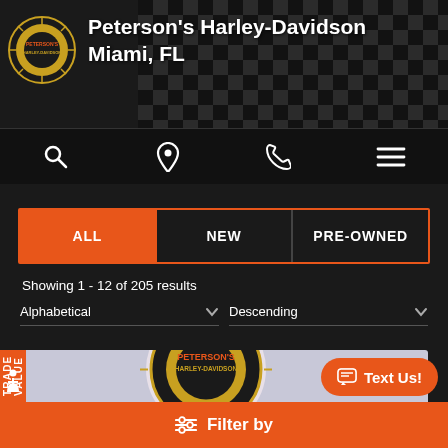Peterson's Harley-Davidson Miami, FL
ALL | NEW | PRE-OWNED
Showing 1 - 12 of 205 results
Alphabetical
Descending
[Figure (logo): Peterson's Harley-Davidson circular logo badge]
[Figure (photo): Peterson's Harley-Davidson product card with logo on grey background]
TRADE VALUE
Filter by
Text Us!